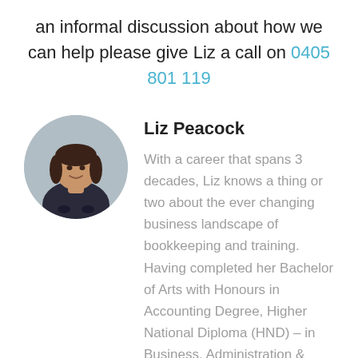an informal discussion about how we can help please give Liz a call on 0405 801 119
[Figure (photo): Circular profile photo of Liz Peacock, a woman with dark hair, smiling, wearing a dark floral top.]
Liz Peacock
With a career that spans 3 decades, Liz knows a thing or two about the ever changing business landscape of bookkeeping and training. Having completed her Bachelor of Arts with Honours in Accounting Degree, Higher National Diploma (HND) – in Business, Administration & Finance and Certificate IV in Training and